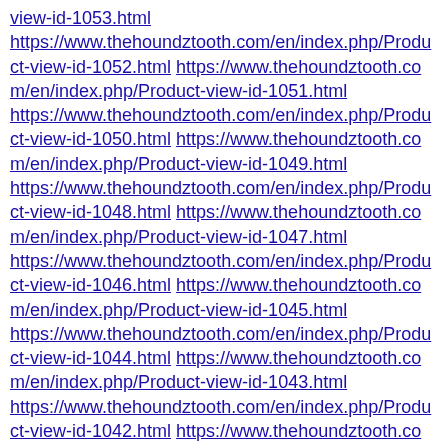view-id-1053.html https://www.thehoundztooth.com/en/index.php/Product-view-id-1052.html https://www.thehoundztooth.com/en/index.php/Product-view-id-1051.html https://www.thehoundztooth.com/en/index.php/Product-view-id-1050.html https://www.thehoundztooth.com/en/index.php/Product-view-id-1049.html https://www.thehoundztooth.com/en/index.php/Product-view-id-1048.html https://www.thehoundztooth.com/en/index.php/Product-view-id-1047.html https://www.thehoundztooth.com/en/index.php/Product-view-id-1046.html https://www.thehoundztooth.com/en/index.php/Product-view-id-1045.html https://www.thehoundztooth.com/en/index.php/Product-view-id-1044.html https://www.thehoundztooth.com/en/index.php/Product-view-id-1043.html https://www.thehoundztooth.com/en/index.php/Product-view-id-1042.html https://www.thehoundztooth.com/en/index.php/Product-view-id-1041.html https://www.thehoundztooth.com/en/index.php/Product-view-id-1040.html https://www.thehoundztooth.com/en/index.php/Product-view-id-1039.html https://www.thehoundztooth.com/en/index.php/Product-view-id-1038.html https://www.thehoundztooth.com/en/index.php/Product-view-id-1037.html